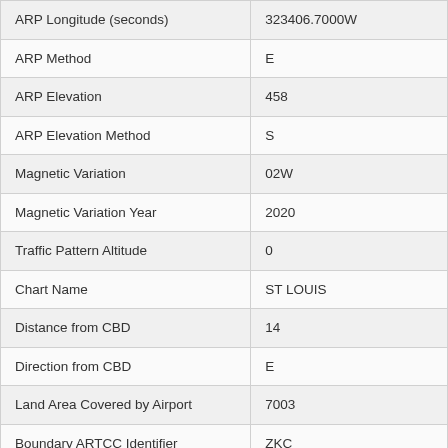| Field | Value |
| --- | --- |
| ARP Longitude (seconds) | 323406.7000W |
| ARP Method | E |
| ARP Elevation | 458 |
| ARP Elevation Method | S |
| Magnetic Variation | 02W |
| Magnetic Variation Year | 2020 |
| Traffic Pattern Altitude | 0 |
| Chart Name | ST LOUIS |
| Distance from CBD | 14 |
| Direction from CBD | E |
| Land Area Covered by Airport | 7003 |
| Boundary ARTCC Identifier | ZKC |
| Boundary ARTCC Computer ID | ZCK |
| Boundary ARTCC Name | KANSAS CITY |